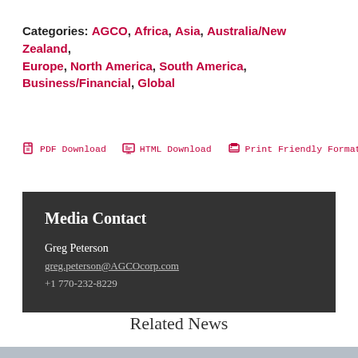Categories: AGCO, Africa, Asia, Australia/New Zealand, Europe, North America, South America, Business/Financial, Global
PDF Download   HTML Download   Print Friendly Format
Media Contact
Greg Peterson
greg.peterson@AGCOcorp.com
+1 770-232-8229
Related News